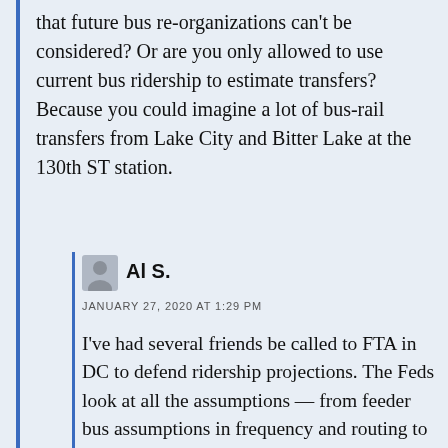that future bus re-organizations can't be considered? Or are you only allowed to use current bus ridership to estimate transfers? Because you could imagine a lot of bus-rail transfers from Lake City and Bitter Lake at the 130th ST station.
[Figure (illustration): Generic user avatar silhouette icon in grey]
Al S.
JANUARY 27, 2020 AT 1:29 PM
I've had several friends be called to FTA in DC to defend ridership projections. The Feds look at all the assumptions — from feeder bus assumptions in frequency and routing to parking costs